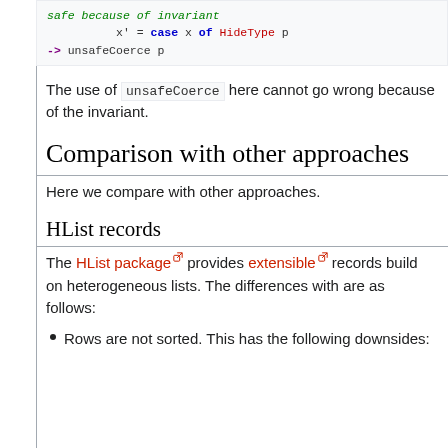[Figure (screenshot): Code block showing Haskell syntax: safe because of invariant, x' = case x of HideType p -> unsafeCoerce p]
The use of unsafeCoerce here cannot go wrong because of the invariant.
Comparison with other approaches
Here we compare with other approaches.
HList records
The HList package provides extensible records build on heterogeneous lists. The differences with are as follows:
Rows are not sorted. This has the following downsides: